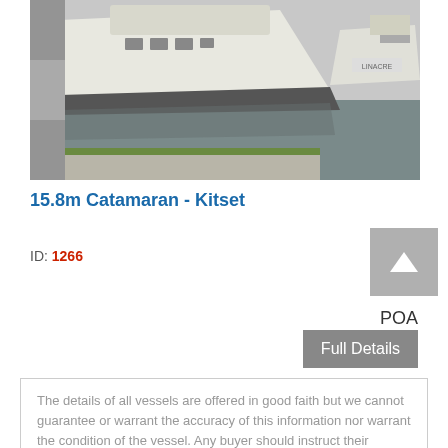[Figure (photo): Photograph of a large white catamaran boat out of water near a marina, with another smaller white boat visible on the right side, grass and concrete pavement visible in foreground, water in background.]
15.8m Catamaran - Kitset
ID: 1266
POA
Full Details
The details of all vessels are offered in good faith but we cannot guarantee or warrant the accuracy of this information nor warrant the condition of the vessel. Any buyer should instruct their agents, or their surveyors, to